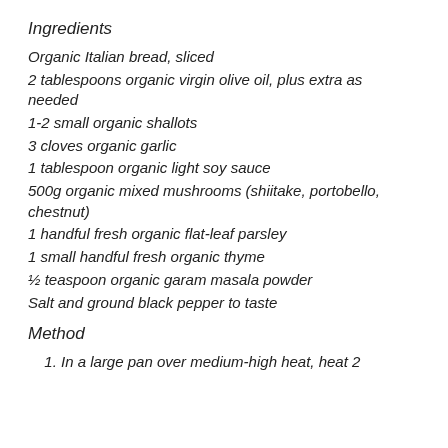Ingredients
Organic Italian bread, sliced
2 tablespoons organic virgin olive oil, plus extra as needed
1-2 small organic shallots
3 cloves organic garlic
1 tablespoon organic light soy sauce
500g organic mixed mushrooms (shiitake, portobello, chestnut)
1 handful fresh organic flat-leaf parsley
1 small handful fresh organic thyme
½ teaspoon organic garam masala powder
Salt and ground black pepper to taste
Method
1. In a large pan over medium-high heat, heat 2